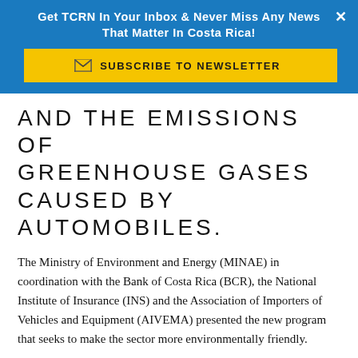Get TCRN In Your Inbox & Never Miss Any News That Matter In Costa Rica!
[Figure (other): Yellow subscribe to newsletter button with envelope icon]
AND THE EMISSIONS OF GREENHOUSE GASES CAUSED BY AUTOMOBILES.
The Ministry of Environment and Energy (MINAE) in coordination with the Bank of Costa Rica (BCR), the National Institute of Insurance (INS) and the Association of Importers of Vehicles and Equipment (AIVEMA) presented the new program that seeks to make the sector more environmentally friendly.
“The transport sector is responsible for 32% of total greenhouse gases in the country. Having vehicles that are newer and more efficient is a